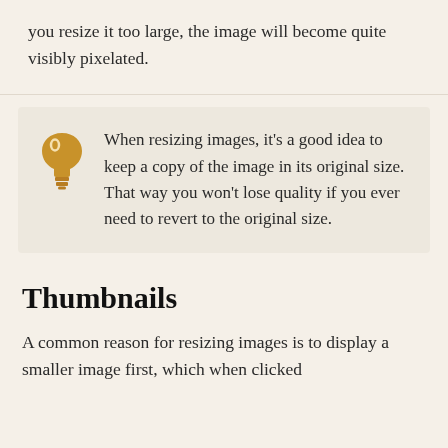you resize it too large, the image will become quite visibly pixelated.
When resizing images, it's a good idea to keep a copy of the image in its original size. That way you won't lose quality if you ever need to revert to the original size.
Thumbnails
A common reason for resizing images is to display a smaller image first, which when clicked